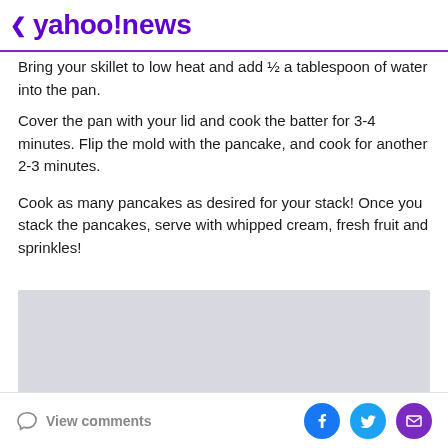< yahoo!news
Bring your skillet to low heat and add ½ a tablespoon of water into the pan.
Cover the pan with your lid and cook the batter for 3-4 minutes. Flip the mold with the pancake, and cook for another 2-3 minutes.
Cook as many pancakes as desired for your stack! Once you stack the pancakes, serve with whipped cream, fresh fruit and sprinkles!
[Figure (other): Grey advertisement placeholder box]
View comments